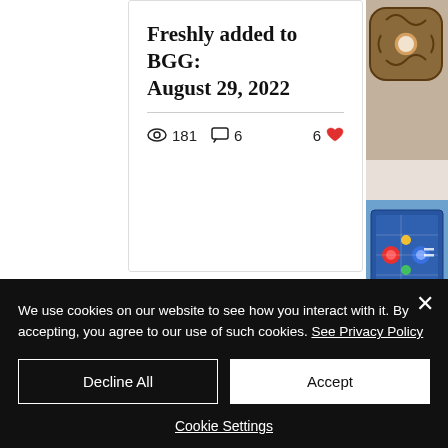Freshly added to BGG: August 29, 2022
181 views · 6 comments · 6 likes
[Figure (screenshot): Pagination dots: one gold filled dot and two gray dots indicating carousel position]
[Figure (photo): Board game pieces and components photo on right side]
We use cookies on our website to see how you interact with it. By accepting, you agree to our use of such cookies. See Privacy Policy
Decline All
Accept
Cookie Settings